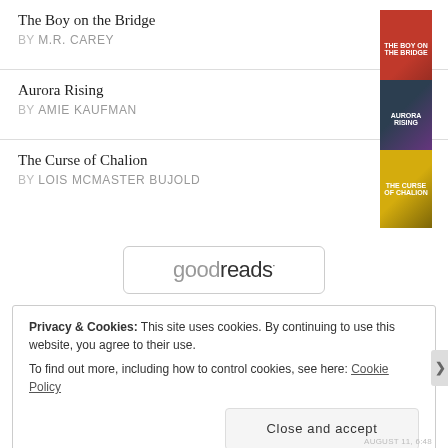The Boy on the Bridge BY M.R. CAREY
Aurora Rising BY AMIE KAUFMAN
The Curse of Chalion BY LOIS MCMASTER BUJOLD
[Figure (logo): Goodreads logo in a rounded rectangle border]
Privacy & Cookies: This site uses cookies. By continuing to use this website, you agree to their use. To find out more, including how to control cookies, see here: Cookie Policy
Close and accept